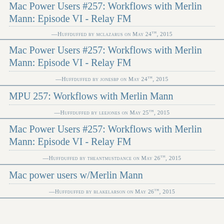Mac Power Users #257: Workflows with Merlin Mann: Episode VI - Relay FM
—Huffduffed by mclazarus on May 24th, 2015
Mac Power Users #257: Workflows with Merlin Mann: Episode VI - Relay FM
—Huffduffed by jonesbp on May 24th, 2015
MPU 257: Workflows with Merlin Mann
—Huffduffed by leejones on May 25th, 2015
Mac Power Users #257: Workflows with Merlin Mann: Episode VI - Relay FM
—Huffduffed by theantmustdance on May 26th, 2015
Mac power users w/Merlin Mann
—Huffduffed by blakelarson on May 26th, 2015